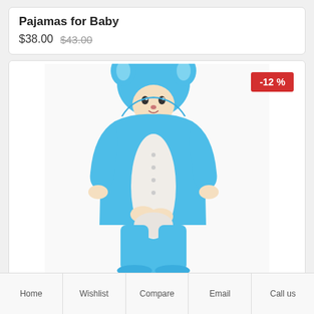Pajamas for Baby
$38.00 $43.00
[Figure (photo): Person wearing a blue animal onesie/kigurumi pajama with hood featuring animal ears, white belly panel, photographed against white background. A red discount badge shows -12%.]
Home   Wishlist   Compare   Email   Call us